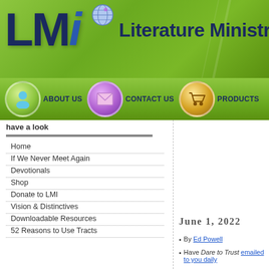[Figure (logo): LMI Literature Ministries International logo on green gradient banner with globe icon]
[Figure (infographic): Navigation bar with About Us (person icon), Contact Us (envelope icon), Products (cart icon) buttons on green background]
have a look
Home
If We Never Meet Again
Devotionals
Shop
Donate to LMI
Vision & Distinctives
Downloadable Resources
52 Reasons to Use Tracts
June 1, 2022
By Ed Powell
Have Dare to Trust emailed to you daily